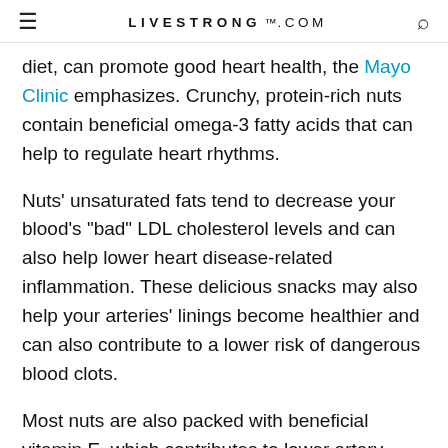LIVESTRONG.COM
diet, can promote good heart health, the Mayo Clinic emphasizes. Crunchy, protein-rich nuts contain beneficial omega-3 fatty acids that can help to regulate heart rhythms.
Nuts' unsaturated fats tend to decrease your blood's "bad" LDL cholesterol levels and can also help lower heart disease-related inflammation. These delicious snacks may also help your arteries' linings become healthier and can also contribute to a lower risk of dangerous blood clots.
Most nuts are also packed with beneficial vitamin E, which contributes to lower artery plaque levels. Plus, they contain the compound l-arginine, which improves